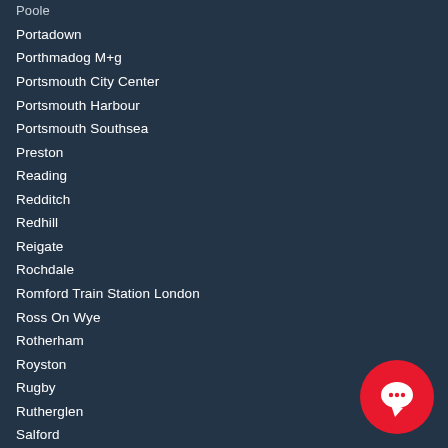Poole
Portadown
Porthmadog M+g
Portsmouth City Center
Portsmouth Harbour
Portsmouth Southsea
Preston
Reading
Redditch
Redhill
Reigate
Rochdale
Romford Train Station London
Ross On Wye
Rotherham
Royston
Rugby
Rutherglen
Salford
Salisbury
Scarborough
Scatsta Airport
Scotswood Road
Southorne
[Figure (other): Red circular chat button with white speech bubble icon in bottom-right corner]